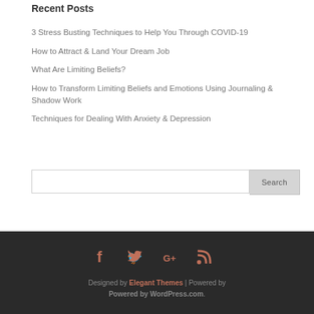Recent Posts
3 Stress Busting Techniques to Help You Through COVID-19
How to Attract & Land Your Dream Job
What Are Limiting Beliefs?
How to Transform Limiting Beliefs and Emotions Using Journaling & Shadow Work
Techniques for Dealing With Anxiety & Depression
[Figure (other): Search bar with text input and Search button]
Social icons: Facebook, Twitter, Google+, RSS. Designed by Elegant Themes | Powered by Powered by WordPress.com.